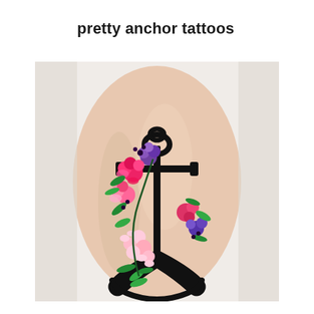pretty anchor tattoos
[Figure (photo): Close-up photograph of a wrist with a floral anchor tattoo. The anchor is rendered in solid black ink with decorative colorful flowers (pink roses, purple/blue roses, pink cherry blossoms, and green leaves) wrapped around the anchor shaft, photographed against a light brick/white background.]